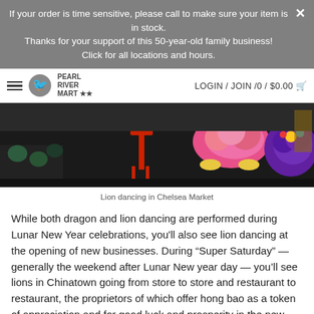If your order is time sensitive, please call to make sure your item is in stock.
Thanks for your support of this 50-year-old family business!
Click for all locations and hours.
[Figure (screenshot): Pearl River Mart website navigation bar with hamburger menu, Pearl River Mart logo, and LOGIN / JOIN /0 / $0.00 cart link]
[Figure (photo): Lion dancing in Chelsea Market — colorful lion dance costumes (pink/yellow and purple) performing on a dark stage floor with audience seated around]
Lion dancing in Chelsea Market
While both dragon and lion dancing are performed during Lunar New Year celebrations, you'll also see lion dancing at the opening of new businesses. During "Super Saturday" — generally the weekend after Lunar New year day — you'll see lions in Chinatown going from store to store and restaurant to restaurant, the proprietors of which offer hong bao as a token of appreciation and for good luck and prosperity in the new year.
Want to learn more about animals in Asian culture? Check out our